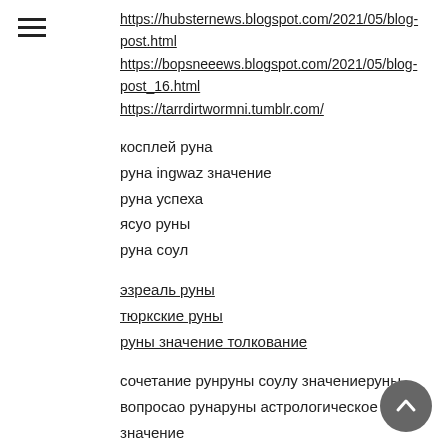https://hubsternews.blogspot.com/2021/05/blog-post.html
https://bopsneeews.blogspot.com/2021/05/blog-post_16.html
https://tarrdirtwormni.tumblr.com/
косплей руна
руна ingwaz значение
руна успеха
ясуо руны
руна соул
эзреаль руны
тюркские руны
руны значение толкование
сочетание рунруны соулу значениеруны
вопросао рунаруны астрологическое значение
кейл руны
руна паука